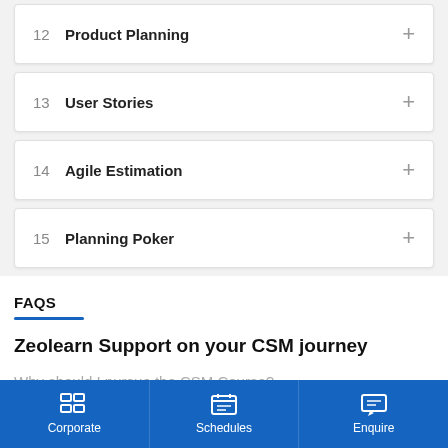12 Product Planning
13 User Stories
14 Agile Estimation
15 Planning Poker
FAQS
Zeolearn Support on your CSM journey
Why should I pursue the CSM Course?
Corporate   Schedules   Enquire